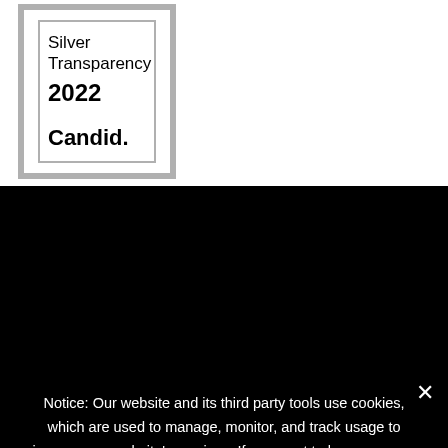[Figure (logo): Silver Transparency 2022 Candid. badge with double border frame]
Notice: Our website and its third party tools use cookies, which are used to manage, monitor, and track usage to improve our website's services. If you want to know more or withdraw your consent to the use of cookies, please refer to our cookie policy.
❯ Privacy Preferences
I Agree